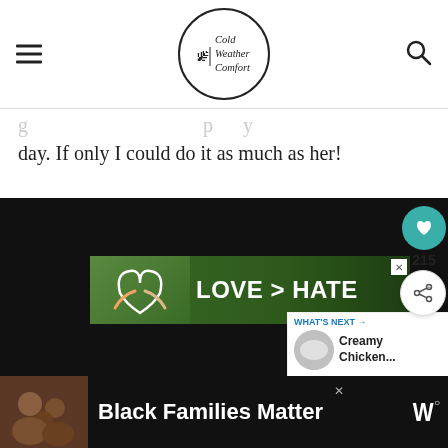Cold Weather Comfort
day. If only I could do it as much as her!
[Figure (screenshot): Website screenshot showing a dark video/image area with an embedded 'LOVE > HATE' advertisement overlay, share and heart buttons on the right side, and a 'What's Next: Creamy Chicken...' panel.]
[Figure (photo): Bottom banner advertisement: Black Families Matter, showing a photo of Black family members smiling, with a media network logo (W) on the right.]